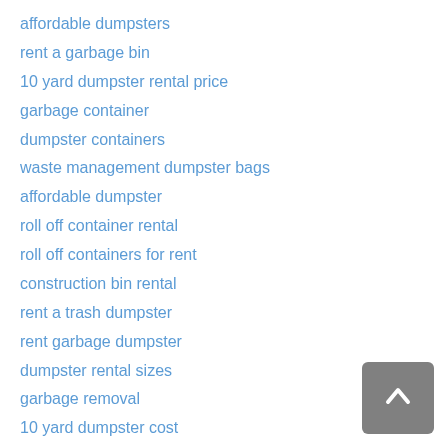affordable dumpsters
rent a garbage bin
10 yard dumpster rental price
garbage container
dumpster containers
waste management dumpster bags
affordable dumpster
roll off container rental
roll off containers for rent
construction bin rental
rent a trash dumpster
rent garbage dumpster
dumpster rental sizes
garbage removal
10 yard dumpster cost
rent a small dumpster
dumpster rental price
how much does a dumpster cost
waste management dumpster